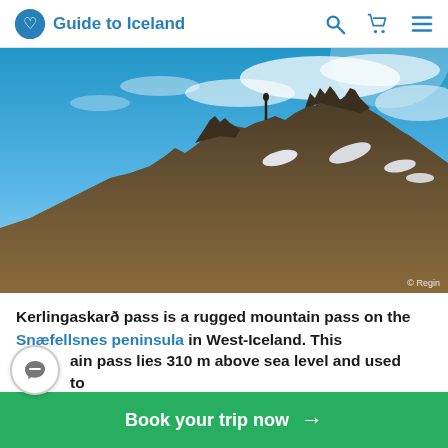Guide to Iceland
[Figure (photo): Rocky mountain pass with patches of snow and blue sky with wispy clouds. Photo credit: © Regin]
Kerlingaskarð pass is a rugged mountain pass on the Snæfellsnes peninsula in West-Iceland. This mountain pass lies 310 m above sea level and used to take people from Helgafellssveit on the northern
Book your trip now →